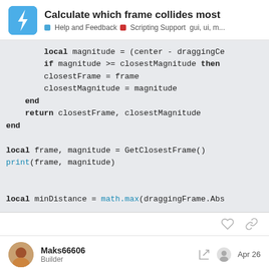Calculate which frame collides most
Help and Feedback  Scripting Support  gui, ui, m...
[Figure (screenshot): Code block showing Lua script with local, if, return, end keywords. Code: local magnitude = (center - draggingCe
if magnitude >= closestMagnitude then
closestFrame = frame
closestMagnitude = magnitude
end
return closestFrame, closestMagnitude
end

local frame, magnitude = GetClosestFrame()
print(frame, magnitude)


local minDistance = math.max(draggingFrame.Abs]
Maks66606
Builder
Apr 26